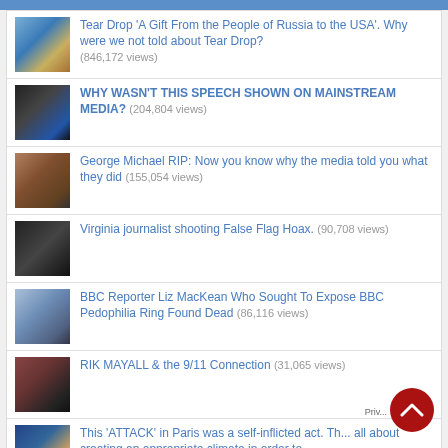Tear Drop 'A Gift From the People of Russia to the USA'. Why were we not told about Tear Drop? (846,172 views)
WHY WASN'T THIS SPEECH SHOWN ON MAINSTREAM MEDIA? (204,804 views)
George Michael RIP: Now you know why the media told you what they did (155,054 views)
Virginia journalist shooting False Flag Hoax. (90,708 views)
BBC Reporter Liz MacKean Who Sought To Expose BBC Pedophilia Ring Found Dead (86,116 views)
RIK MAYALL & the 9/11 Connection (31,065 views)
This 'ATTACK' in Paris was a self-inflicted act. Th... all about creating an appropriate climate in order to